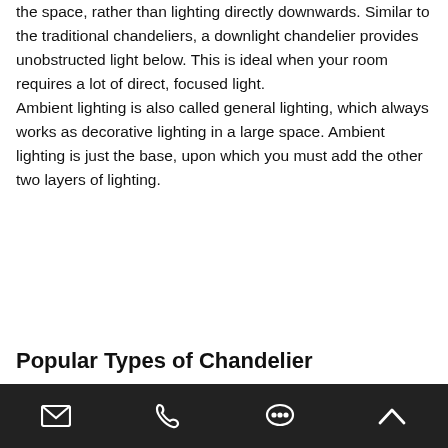the space, rather than lighting directly downwards. Similar to the traditional chandeliers, a downlight chandelier provides unobstructed light below. This is ideal when your room requires a lot of direct, focused light. Ambient lighting is also called general lighting, which always works as decorative lighting in a large space. Ambient lighting is just the base, upon which you must add the other two layers of lighting.
Popular Types of Chandelier
Email | Phone | Chat | Up